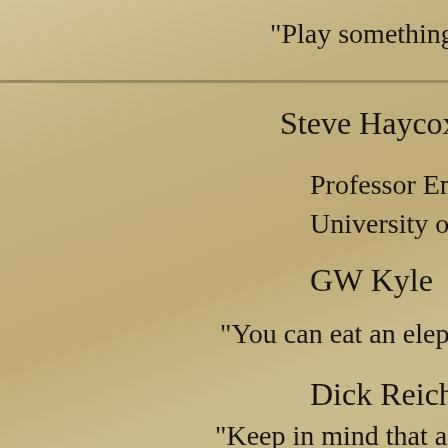"Play something you know wor
Steve Haycox
Professor Emeritus of Histor
University of Alaska, Anch
GW Kyle
"You can eat an elephant, one bit
Dick Reichman
"Keep in mind that all this tem